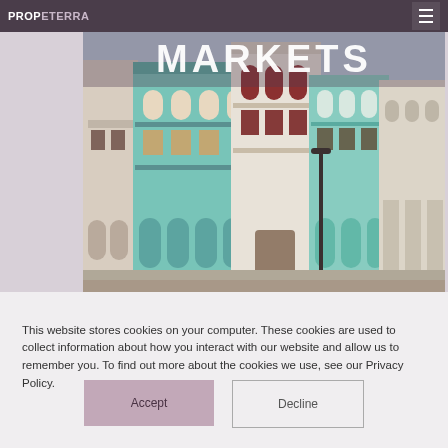PROPETERRA
[Figure (photo): Colorful colonial-style buildings in what appears to be Havana, Cuba, with teal, white, and pink facades featuring balconies and arched windows. The word MARKETS is overlaid in large white bold text at the top of the image.]
This website stores cookies on your computer. These cookies are used to collect information about how you interact with our website and allow us to remember you. To find out more about the cookies we use, see our Privacy Policy.
Accept
Decline